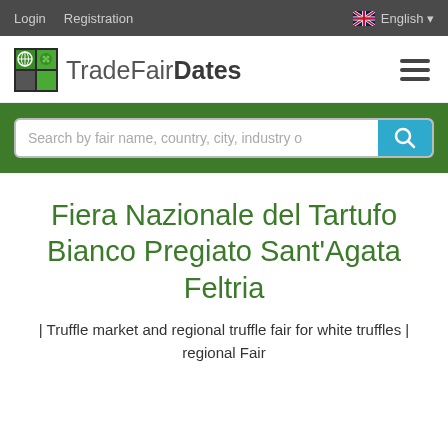Login  Registration  English
[Figure (logo): TradeFairDates logo with globe icon]
[Figure (other): Search bar: Search by fair name, country, city, industry c [search button]]
Fiera Nazionale del Tartufo Bianco Pregiato Sant'Agata Feltria
| Truffle market and regional truffle fair for white truffles | regional Fair